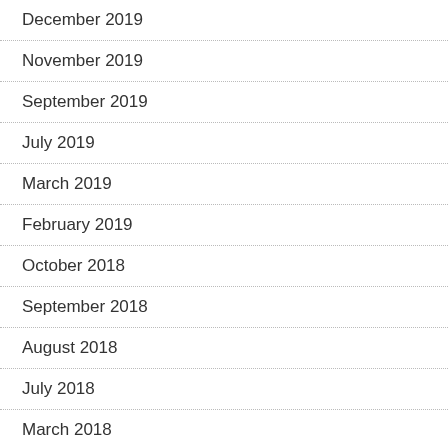December 2019
November 2019
September 2019
July 2019
March 2019
February 2019
October 2018
September 2018
August 2018
July 2018
March 2018
February 2018